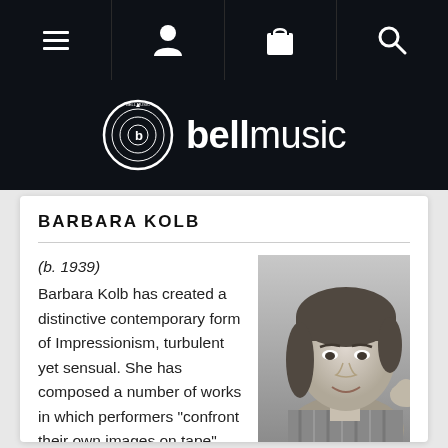Bell Music website navigation bar
[Figure (logo): Bell Music logo: circular vinyl record icon with 'b' inside, beside bold 'bell' and regular weight 'music' text, white on dark navy background]
BARBARA KOLB
(b. 1939) Barbara Kolb has created a distinctive contemporary form of Impressionism, turbulent yet sensual. She has composed a number of works in which performers "confront their own images on tape". Her electronic
[Figure (photo): Black and white portrait photograph of Barbara Kolb, a middle-aged woman with short dark hair, resting her chin on her hand, smiling slightly, wearing a striped shirt]